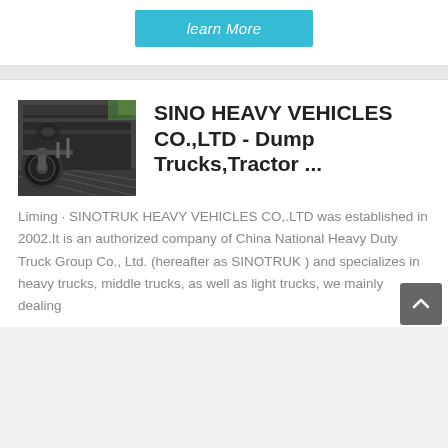learn More
[Figure (photo): Undercarriage/wheel area of a heavy truck or dump truck, viewed from below/side]
SINO HEAVY VEHICLES CO.,LTD - Dump Trucks,Tractor ...
Liming · SINOTRUK HEAVY VEHICLES CO,.LTD was established in 2002.It is an authorized company of China National Heavy Duty Truck Group Co., Ltd. (hereafter as SINOTRUK ) and specializes in heavy trucks, middle trucks, as well as light trucks, we mainly dealing